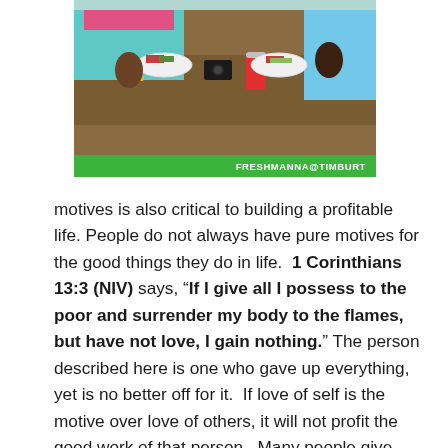[Figure (photo): Two people sitting at a picnic table with plates of food, a camera, and a soda can. One person wears a pink and teal outfit, the other wears a light blue shirt. Green banner at bottom reads FRESHMANNA@TIMBURT.]
motives is also critical to building a profitable life. People do not always have pure motives for the good things they do in life.  1 Corinthians 13:3 (NIV) says, "If I give all I possess to the poor and surrender my body to the flames, but have not love, I gain nothing." The person described here is one who gave up everything, yet is no better off for it.  If love of self is the motive over love of others, it will not profit the good work of that person.  Many people give and do good works for show, to increase their fame, to curry favor, and more.  Other people may benefit from their actions but they themself will not! The love of others has to be the motive behind